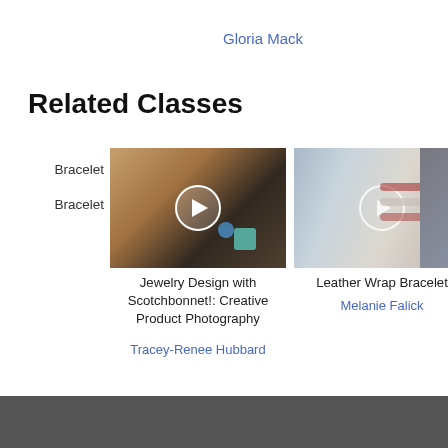Gloria Mack
Rebecca Schwindt
M
Related Classes
Bracelet
Bracelet
[Figure (photo): Person holding a phone taking a product photo, with colorful craft items on a wooden table. Play button overlay.]
Jewelry Design with Scotchbonnet!: Creative Product Photography
Tracey-Renee Hubbard
[Figure (photo): A hand wearing multiple leather wrap bracelets in red and white, on a grey background. Play button overlay.]
Leather Wrap Bracelet
Melanie Falick
[Figure (photo): Partial view of a third class image, cut off at the right edge.]